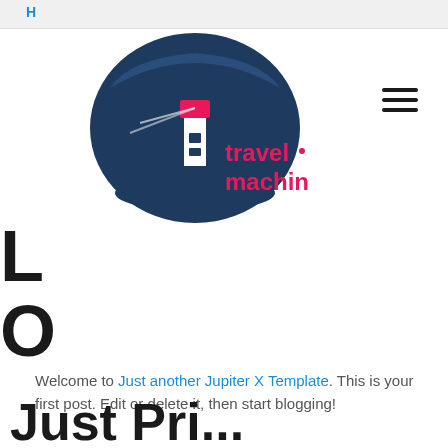H
[Figure (logo): Travel Machine logo: dark navy circle with lighthouse and swoosh, pink text reading 'travel machine']
L
O
Welcome to Just another Jupiter X Template. This is your first post. Edit or delete it, then start blogging!
Just Prio...